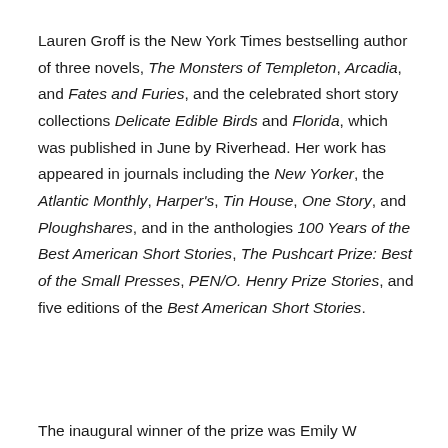Lauren Groff is the New York Times bestselling author of three novels, The Monsters of Templeton, Arcadia, and Fates and Furies, and the celebrated short story collections Delicate Edible Birds and Florida, which was published in June by Riverhead. Her work has appeared in journals including the New Yorker, the Atlantic Monthly, Harper's, Tin House, One Story, and Ploughshares, and in the anthologies 100 Years of the Best American Short Stories, The Pushcart Prize: Best of the Small Presses, PEN/O. Henry Prize Stories, and five editions of the Best American Short Stories.
The inaugural winner of the prize was Emily W